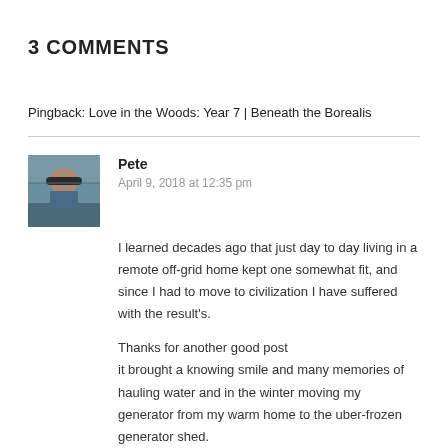3 COMMENTS
Pingback: Love in the Woods: Year 7 | Beneath the Borealis
Pete
April 9, 2018 at 12:35 pm
I learned decades ago that just day to day living in a remote off-grid home kept one somewhat fit, and since I had to move to civilization I have suffered with the result's.
Thanks for another good post
it brought a knowing smile and many memories of hauling water and in the winter moving my generator from my warm home to the uber-frozen generator shed.